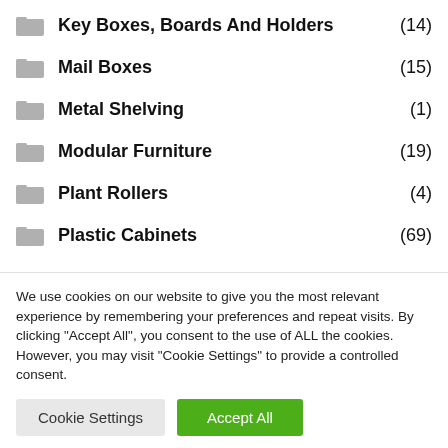Key Boxes, Boards And Holders (14)
Mail Boxes (15)
Metal Shelving (1)
Modular Furniture (19)
Plant Rollers (4)
Plastic Cabinets (69)
Plastic Shelving (15)
We use cookies on our website to give you the most relevant experience by remembering your preferences and repeat visits. By clicking “Accept All”, you consent to the use of ALL the cookies. However, you may visit "Cookie Settings" to provide a controlled consent.